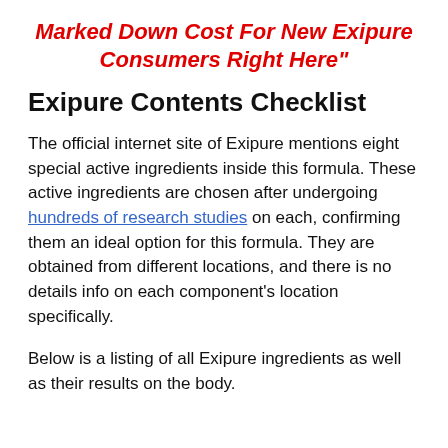Marked Down Cost For New Exipure Consumers Right Here"
Exipure Contents Checklist
The official internet site of Exipure mentions eight special active ingredients inside this formula. These active ingredients are chosen after undergoing hundreds of research studies on each, confirming them an ideal option for this formula. They are obtained from different locations, and there is no details info on each component’s location specifically.
Below is a listing of all Exipure ingredients as well as their results on the body.